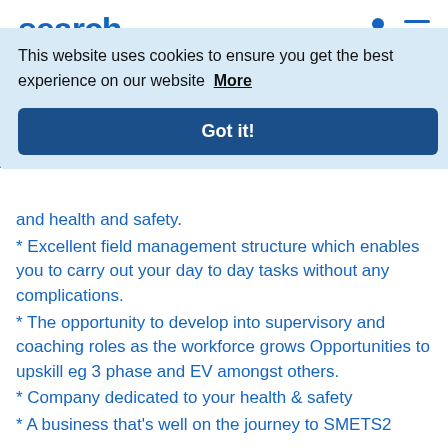search.
This website uses cookies to ensure you get the best experience on our website  More
Got it!
76,000+
Candidates placed last year
and health and safety.
* Excellent field management structure which enables you to carry out your day to day tasks without any complications.
* The opportunity to develop into supervisory and coaching roles as the workforce grows Opportunities to upskill eg 3 phase and EV amongst others.
* Company dedicated to your health & safety
* A business that's well on the journey to SMETS2